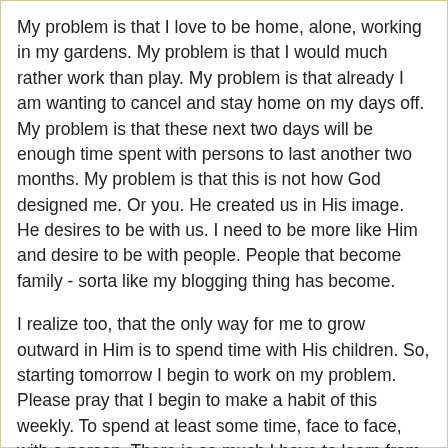My problem is that I love to be home, alone, working in my gardens. My problem is that I would much rather work than play. My problem is that already I am wanting to cancel and stay home on my days off. My problem is that these next two days will be enough time spent with persons to last another two months. My problem is that this is not how God designed me. Or you. He created us in His image. He desires to be with us. I need to be more like Him and desire to be with people. People that become family - sorta like my blogging thing has become.
I realize too, that the only way for me to grow outward in Him is to spend time with His children. So, starting tomorrow I begin to work on my problem. Please pray that I begin to make a habit of this weekly. To spend at least some time, face to face, with a person. There is so much I have to learn from His creation.
deby at 7:01 PM
2 comments: